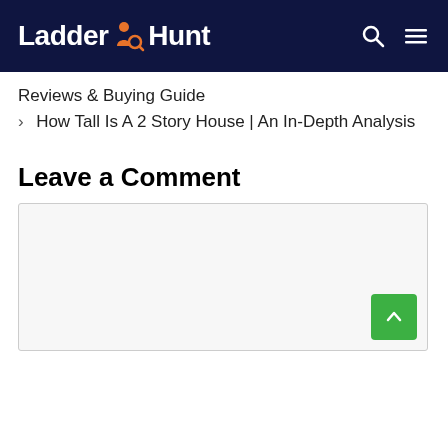Ladder Hunt
Reviews & Buying Guide
> How Tall Is A 2 Story House | An In-Depth Analysis
Leave a Comment